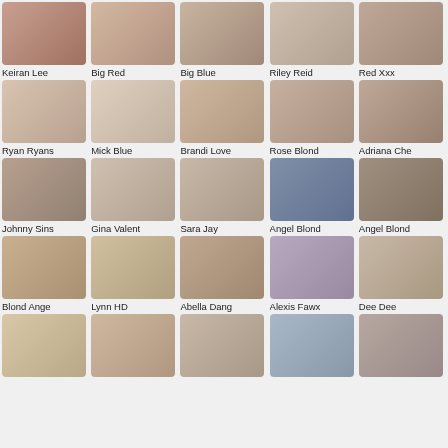[Figure (photo): Grid of thumbnail images with performer names]
Keiran Lee
Big Red
Big Blue
Riley Reid
Red Xxx
Ryan Ryans
Mick Blue
Brandi Love
Rose Blond
Adriana Che
Johnny Sins
Gina Valent
Sara Jay
Angel Blond
Angel Blond
Blond Ange
Lynn HD
Abella Dang
Alexis Fawx
Dee Dee